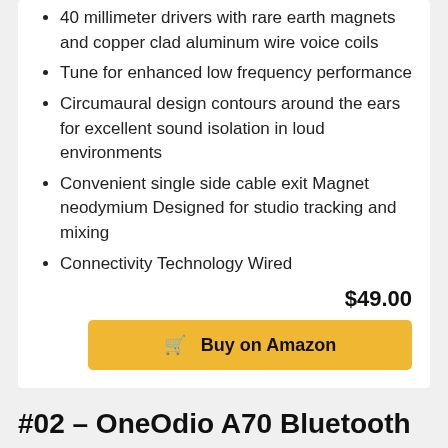40 millimeter drivers with rare earth magnets and copper clad aluminum wire voice coils
Tune for enhanced low frequency performance
Circumaural design contours around the ears for excellent sound isolation in loud environments
Convenient single side cable exit Magnet neodymium Designed for studio tracking and mixing
Connectivity Technology Wired
$49.00
Buy on Amazon
#02 – OneOdio A70 Bluetooth Over Ear Headphones, Studio Headphones with Shareport